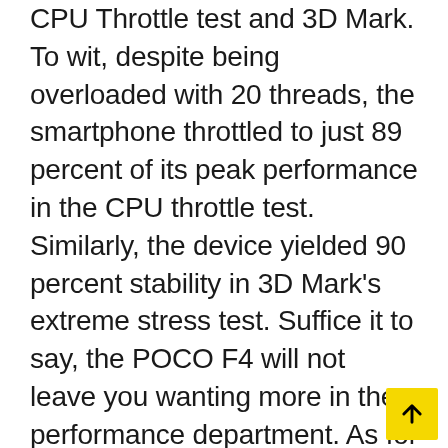CPU Throttle test and 3D Mark. To wit, despite being overloaded with 20 threads, the smartphone throttled to just 89 percent of its peak performance in the CPU throttle test. Similarly, the device yielded 90 percent stability in 3D Mark's extreme stress test. Suffice it to say, the POCO F4 will not leave you wanting more in the performance department. As for the battery backup, the POCO F4 ships with a 4,500mAh cell which should last buyers a full day with moderate usage. On the bright side, the handset comes with a 67W charging brick in the box and consequently, you should be able to top up the handset in little to no time.